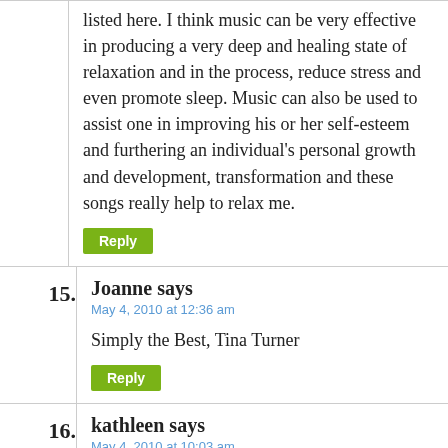listed here. I think music can be very effective in producing a very deep and healing state of relaxation and in the process, reduce stress and even promote sleep. Music can also be used to assist one in improving his or her self-esteem and furthering an individual's personal growth and development, transformation and these songs really help to relax me.
Reply
15. Joanne says
May 4, 2010 at 12:36 am

Simply the Best, Tina Turner

Reply
16. kathleen says
May 4, 2010 at 10:03 am

Oh What a Wonderful World………Louie Armstrong
That is the ultimate feel good song.